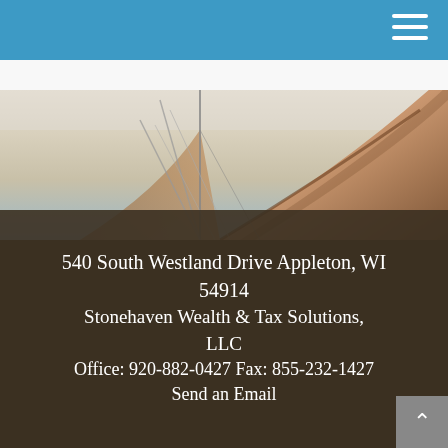[Figure (photo): Close-up photograph of a wooden sailboat sail with rigging and cables against a light sky background]
540 South Westland Drive Appleton, WI 54914
Stonehaven Wealth & Tax Solutions, LLC
Office: 920-882-0427 Fax: 855-232-1427
Send an Email